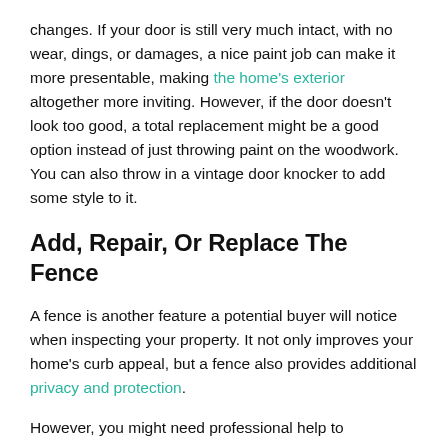changes. If your door is still very much intact, with no wear, dings, or damages, a nice paint job can make it more presentable, making the home's exterior altogether more inviting. However, if the door doesn't look too good, a total replacement might be a good option instead of just throwing paint on the woodwork. You can also throw in a vintage door knocker to add some style to it.
Add, Repair, Or Replace The Fence
A fence is another feature a potential buyer will notice when inspecting your property. It not only improves your home's curb appeal, but a fence also provides additional privacy and protection.
However, you might need professional help to